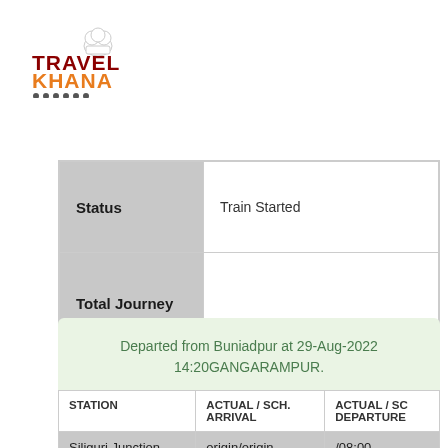[Figure (logo): Travel Khana logo with chef hat icon, TRAVEL in dark red/maroon, KHANA in orange, with small train icons below]
|  |  |
| --- | --- |
| Status | Train Started |
| Total Journey |  |
Departed from Buniadpur at 29-Aug-2022 14:20GANGARAMPUR.
| STATION | ACTUAL / SCH. ARRIVAL | ACTUAL / SC DEPARTURE |
| --- | --- | --- |
| Siliguri Junction | origin/origin | /08:00 |